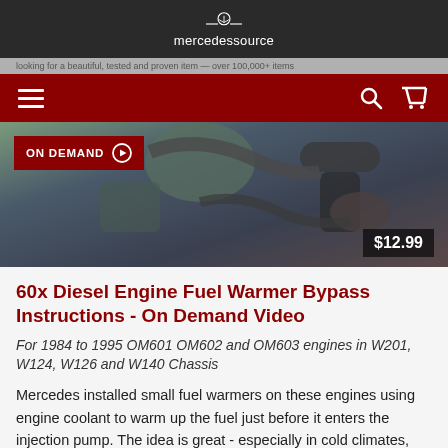mercedessource
[Figure (screenshot): Product thumbnail image of a diesel engine with pipes and fittings, dark background. Overlaid with 'ON DEMAND' badge in red and '$12.99' price badge.]
60x Diesel Engine Fuel Warmer Bypass Instructions - On Demand Video
For 1984 to 1995 OM601 OM602 and OM603 engines in W201, W124, W126 and W140 Chassis
Mercedes installed small fuel warmers on these engines using engine coolant to warm up the fuel just before it enters the injection pump. The idea is great - especially in cold climates, but in moderate and warmer climates it is probably not needed.